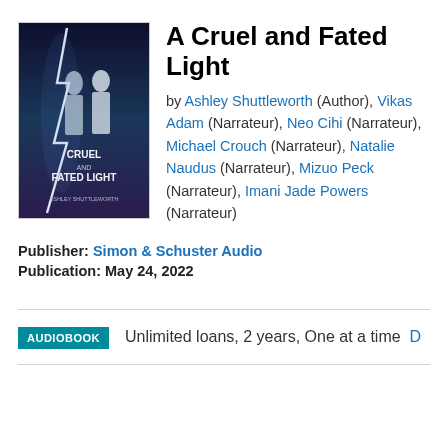[Figure (illustration): Book cover for 'A Cruel and Fated Light' by Ashley Shuttleworth, showing two figures in white/silver outfits against a dark, stormy sky with lightning. The title and author name are visible on the cover.]
A Cruel and Fated Light
by Ashley Shuttleworth (Author), Vikas Adam (Narrateur), Neo Cihi (Narrateur), Michael Crouch (Narrateur), Natalie Naudus (Narrateur), Mizuo Peck (Narrateur), Imani Jade Powers (Narrateur)
Publisher: Simon & Schuster Audio
Publication: May 24, 2022
AUDIOBOOK   Unlimited loans, 2 years, One at a time  D